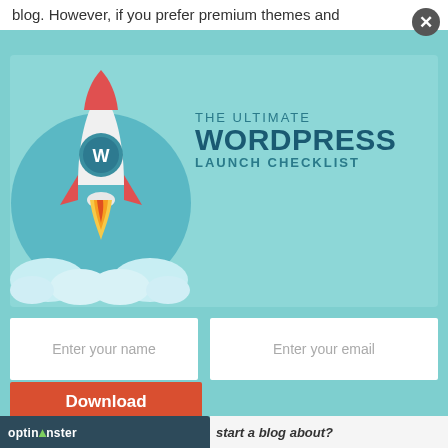blog. However, if you prefer premium themes and
[Figure (illustration): WordPress rocket launch checklist promotional popup/modal with a rocket illustration on a teal background. The rocket has a WordPress logo on it, launching from clouds. Text reads 'THE ULTIMATE WORDPRESS LAUNCH CHECKLIST'. Below are form fields for name and email, a red Download Now button, and an OptinMonster branding bar at the bottom.]
Enter your name
Enter your email
Download Now
optinmonster
start a blog about?